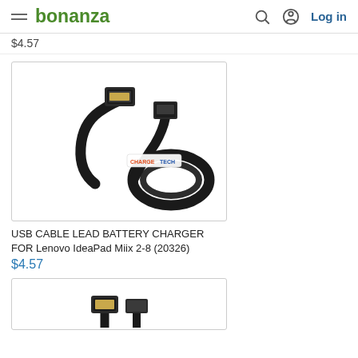bonanza | Log in
$4.57 (partial price from previous item)
[Figure (photo): Black USB cable with USB-A and Micro-USB connectors, coiled, with CHARGETECH branding watermark]
USB CABLE LEAD BATTERY CHARGER FOR Lenovo IdeaPad Miix 2-8 (20326)
$4.57
[Figure (photo): Partial view of another USB cable product at bottom of page]